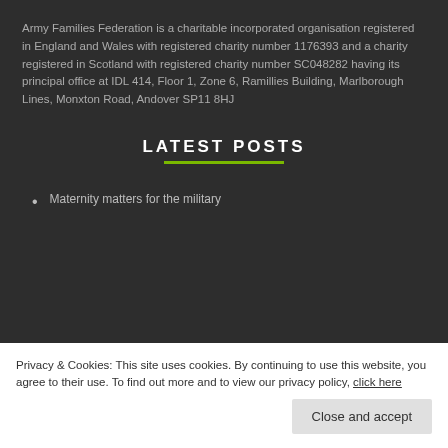Army Families Federation is a charitable incorporated organisation registered in England and Wales with registered charity number 1176393 and a charity registered in Scotland with registered charity number SC048282 having its principal office at IDL 414, Floor 1, Zone 6, Ramillies Building, Marlborough Lines, Monxton Road, Andover SP11 8HJ
LATEST POSTS
Maternity matters for the military
All you need to know about MOD allowances in one place
Privacy & Cookies: This site uses cookies. By continuing to use this website, you agree to their use. To find out more and to view our privacy policy, click here